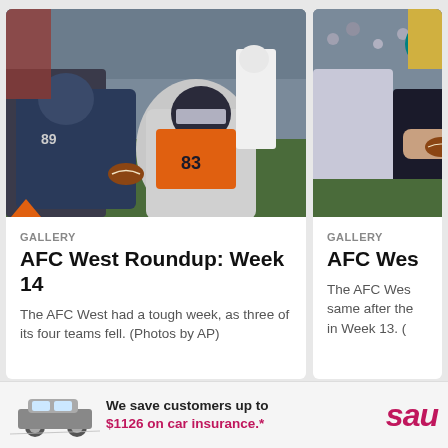[Figure (photo): NFL football game action photo showing players from the Broncos and Titans in a tackle, Broncos player wearing #83, crowd visible in the background]
GALLERY
AFC West Roundup: Week 14
The AFC West had a tough week, as three of its four teams fell. (Photos by AP)
[Figure (photo): Partial NFL football game action photo on the right side, partially cut off, showing players and crowd]
GALLERY
AFC Wes
The AFC Wes same after the in Week 13. (
[Figure (photo): Advertisement banner showing a car partially visible on the left with text: We save customers up to $1126 on car insurance.* and a sau logo on the right]